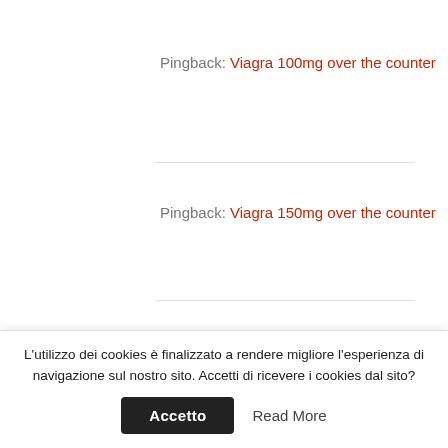Pingback: Viagra 100mg over the counter
Pingback: Viagra 150mg over the counter
Pingback: where to buy Viagra 130mg
Pingback: Viagra 150 mg australia
Pingback: buy Viagra 200 mg
Pingback: [partially visible]
L'utilizzo dei cookies è finalizzato a rendere migliore l'esperienza di navigazione sul nostro sito. Accetti di ricevere i cookies dal sito?
Accetto  Read More